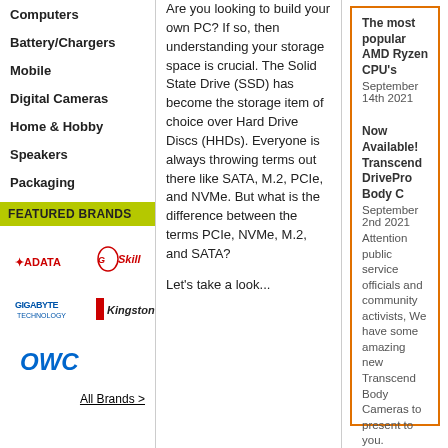Computers
Battery/Chargers
Mobile
Digital Cameras
Home & Hobby
Speakers
Packaging
FEATURED BRANDS
[Figure (logo): ADATA logo in red]
[Figure (logo): G.Skill logo in red italic]
[Figure (logo): GIGABYTE TECHNOLOGIES logo in blue]
[Figure (logo): Kingston logo in black and red]
[Figure (logo): OWC logo in blue italic]
All Brands >
Are you looking to build your own PC? If so, then understanding your storage space is crucial. The Solid State Drive (SSD) has become the storage item of choice over Hard Drive Discs (HHDs). Everyone is always throwing terms out there like SATA, M.2, PCIe, and NVMe. But what is the difference between the terms PCIe, NVMe, M.2, and SATA?
Let's take a look...
The most popular AMD Ryzen CPU's
September 14th 2021
Now Available! Transcend DrivePro Body C
September 2nd 2021
Attention public service officials and community activists, We have some amazing new Transcend Body Cameras to present to you.
View All News